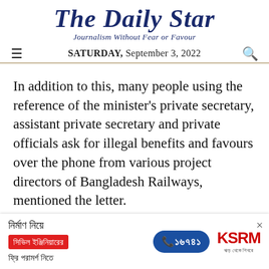The Daily Star — Journalism Without Fear or Favour — SATURDAY, September 3, 2022
In addition to this, many people using the reference of the minister's private secretary, assistant private secretary and private officials ask for illegal benefits and favours over the phone from various project directors of Bangladesh Railways, mentioned the letter.
It added that when the railway minister was informed about the matter, he directed his
[Figure (infographic): Advertisement banner for KSRM civil engineering consultation service in Bengali]